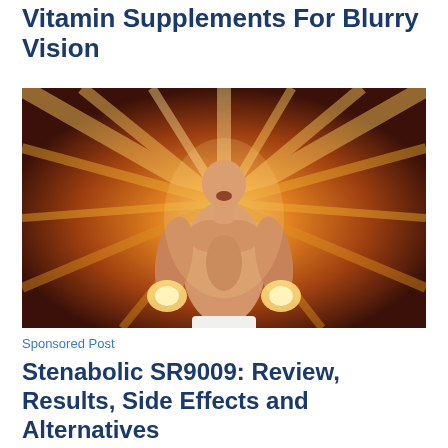Vitamin Supplements For Blurry Vision
[Figure (photo): Muscular shirtless man with clenched fists, mouth open, surrounded by dramatic orange and golden light rays bursting from behind him, wearing white shorts. High-intensity fitness/supplement advertisement style photo.]
Sponsored Post
Stenabolic SR9009: Review, Results, Side Effects and Alternatives